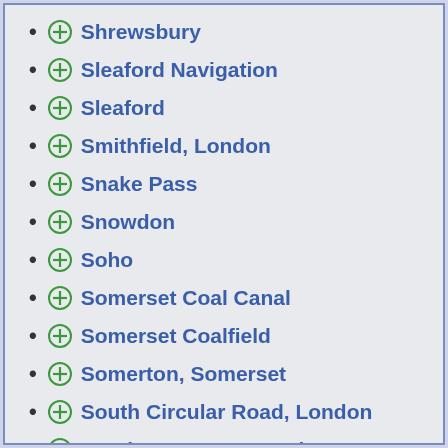Shrewsbury
Sleaford Navigation
Sleaford
Smithfield, London
Snake Pass
Snowdon
Soho
Somerset Coal Canal
Somerset Coalfield
Somerton, Somerset
South Circular Road, London
South West Coast Path